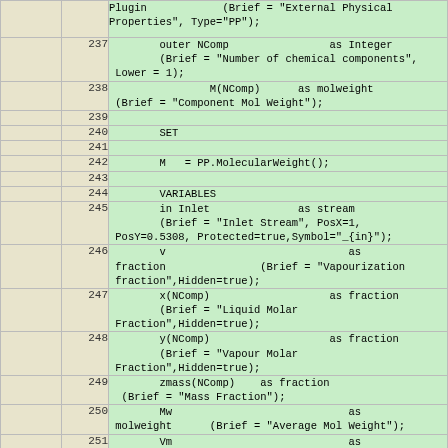|  | Line | Code |
| --- | --- | --- |
|  |  | Plugin            (Brief = "External Physical Properties", Type="PP"); |
|  | 237 |         outer NComp                as Integer
        (Brief = "Number of chemical components",
 Lower = 1); |
|  | 238 |                 M(NComp)      as molweight
 (Brief = "Component Mol Weight"); |
|  | 239 |  |
|  | 240 |         SET |
|  | 241 |  |
|  | 242 |         M   = PP.MolecularWeight(); |
|  | 243 |  |
|  | 244 |         VARIABLES |
|  | 245 |         in Inlet               as stream
        (Brief = "Inlet Stream", PosX=1,
 PosY=0.5308, Protected=true,Symbol="_{in}"); |
|  | 246 |         v                             as
 fraction               (Brief = "Vapourization
 fraction",Hidden=true); |
|  | 247 |         x(NComp)                   as fraction
        (Brief = "Liquid Molar
 Fraction",Hidden=true); |
|  | 248 |         y(NComp)                   as fraction
        (Brief = "Vapour Molar
 Fraction",Hidden=true); |
|  | 249 |         zmass(NComp)    as fraction
  (Brief = "Mass Fraction"); |
|  | 250 |         Mw                            as
 molweight      (Brief = "Average Mol Weight"); |
|  | 251 |         Vm                            as
 volume_mol    (Brief = "Molar Volume"); |
|  | 252 |         rho                           as
 dens_mass      (Brief = "Stream Mass Density"); |
|  | 253 |         rhom                    as dens_mol
        (Brief = "Stream Molar Density"); |